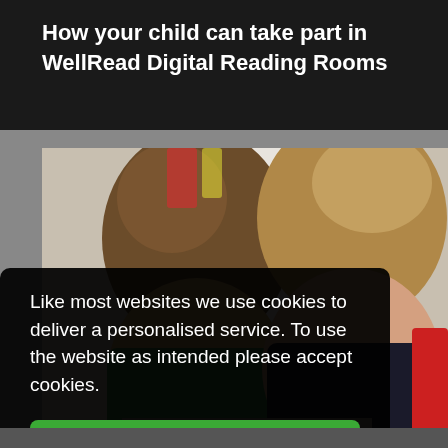How your child can take part in WellRead Digital Reading Rooms
[Figure (photo): Two children photographed from behind, looking down, in a classroom setting]
Like most websites we use cookies to deliver a personalised service. To use the website as intended please accept cookies.